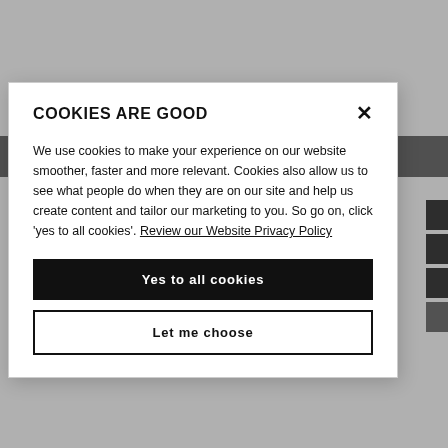This programme is run as part of our Newcastle Business School, part of an elite group of business schools holding the double AACSB...
More details
[Figure (screenshot): Cookie consent modal dialog on a university website. Title: COOKIES ARE GOOD. Body text explains cookie usage and links to privacy policy. Two buttons: 'Yes to all cookies' (black) and 'Let me choose' (outline).]